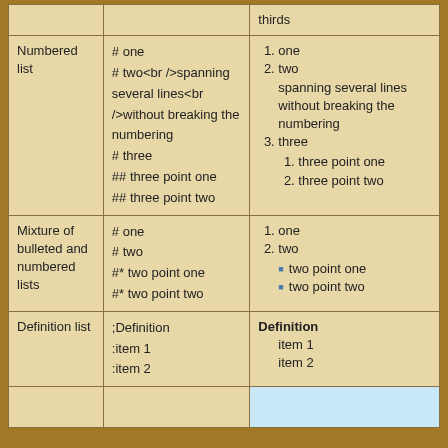|  | Wikitext | Rendered result |
| --- | --- | --- |
|  | thirds (partial) | thirds (partial) |
| Numbered list | # one
# two<br />spanning several lines<br />without breaking the numbering
# three
## three point one
## three point two | 1. one
2. two spanning several lines without breaking the numbering
3. three
  1. three point one
  2. three point two |
| Mixture of bulleted and numbered lists | # one
# two
#* two point one
#* two point two | 1. one
2. two
  • two point one
  • two point two |
| Definition list | ;Definition
:item 1
:item 2 | Definition
item 1
item 2 |